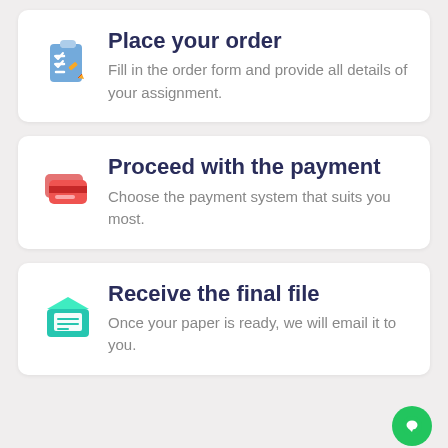Place your order
Fill in the order form and provide all details of your assignment.
Proceed with the payment
Choose the payment system that suits you most.
Receive the final file
Once your paper is ready, we will email it to you.